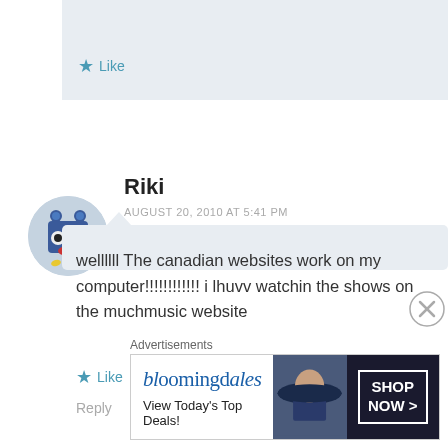Like
Riki
AUGUST 20, 2010 AT 5:41 PM
wellllll The canadian websites work on my computer!!!!!!!!!!!! i lhuvv watchin the shows on the muchmusic website
Like
Reply
Advertisements
[Figure (screenshot): Bloomingdale's advertisement: 'View Today's Top Deals!' with SHOP NOW > button and image of woman in hat]